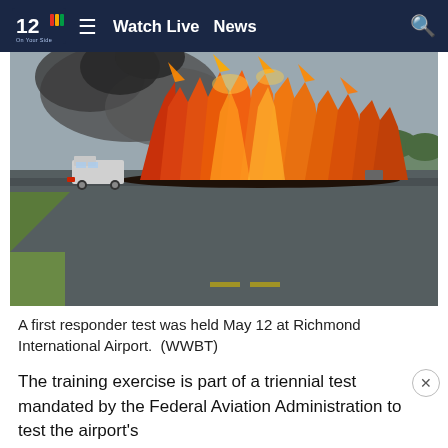12 On Your Side  ≡  Watch Live  News
[Figure (photo): Aerial view from ground level of a large fire on an airport runway with orange flames and black smoke rising. A truck is visible to the left. Green grass is visible in the foreground.]
A first responder test was held May 12 at Richmond International Airport.  (WWBT)
The training exercise is part of a triennial test mandated by the Federal Aviation Administration to test the airport's